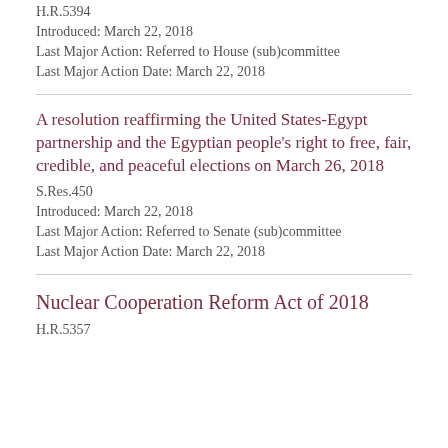H.R.5394
Introduced: March 22, 2018
Last Major Action: Referred to House (sub)committee
Last Major Action Date: March 22, 2018
A resolution reaffirming the United States-Egypt partnership and the Egyptian people's right to free, fair, credible, and peaceful elections on March 26, 2018
S.Res.450
Introduced: March 22, 2018
Last Major Action: Referred to Senate (sub)committee
Last Major Action Date: March 22, 2018
Nuclear Cooperation Reform Act of 2018
H.R.5357